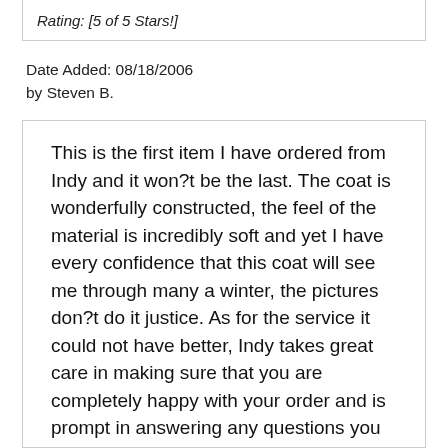Rating: [5 of 5 Stars!]
Date Added: 08/18/2006
by Steven B.
This is the first item I have ordered from Indy and it won?t be the last. The coat is wonderfully constructed, the feel of the material is incredibly soft and yet I have every confidence that this coat will see me through many a winter, the pictures don?t do it justice. As for the service it could not have better, Indy takes great care in making sure that you are completely happy with your order and is prompt in answering any questions you may have. Best of all he makes the whole process of creating or selecting your choice of clothes